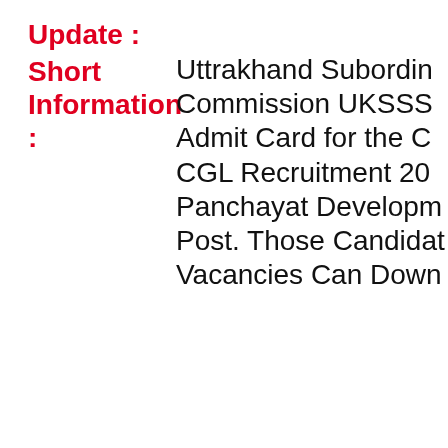Update :
Short Information : Uttrakhand Subordinate Commission UKSSS Admit Card for the CGL Recruitment 20 Panchayat Development Post. Those Candidates Vacancies Can Down